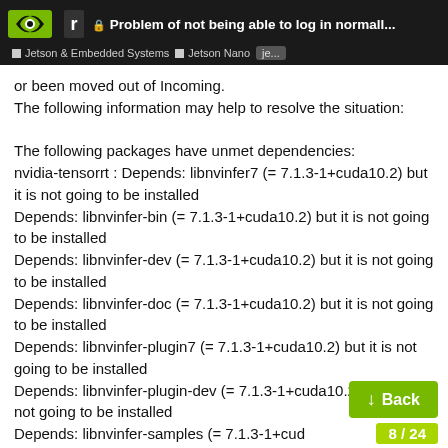Problem of not being able to log in normall... | Jetson & Embedded Systems | Jetson Nano | je...
or been moved out of Incoming.
The following information may help to resolve the situation:

The following packages have unmet dependencies:
nvidia-tensorrt : Depends: libnvinfer7 (= 7.1.3-1+cuda10.2) but it is not going to be installed
Depends: libnvinfer-bin (= 7.1.3-1+cuda10.2) but it is not going to be installed
Depends: libnvinfer-dev (= 7.1.3-1+cuda10.2) but it is not going to be installed
Depends: libnvinfer-doc (= 7.1.3-1+cuda10.2) but it is not going to be installed
Depends: libnvinfer-plugin7 (= 7.1.3-1+cuda10.2) but it is not going to be installed
Depends: libnvinfer-plugin-dev (= 7.1.3-1+cuda10.2) but it is not going to be installed
Depends: libnvinfer-samples (= 7.1.3-1+cud... is not going to be installed